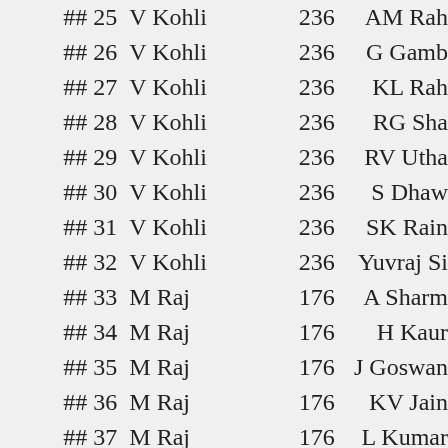| Rank | Player | Score | Opponent |
| --- | --- | --- | --- |
| ## 25 | V Kohli | 236 | AM Rah |
| ## 26 | V Kohli | 236 | G Gamb |
| ## 27 | V Kohli | 236 | KL Rah |
| ## 28 | V Kohli | 236 | RG Sha |
| ## 29 | V Kohli | 236 | RV Utha |
| ## 30 | V Kohli | 236 | S Dhaw |
| ## 31 | V Kohli | 236 | SK Rain |
| ## 32 | V Kohli | 236 | Yuvraj Si |
| ## 33 | M Raj | 176 | A Sharm |
| ## 34 | M Raj | 176 | H Kaur |
| ## 35 | M Raj | 176 | J Goswan |
| ## 36 | M Raj | 176 | KV Jain |
| ## 37 | M Raj | 176 | L Kumar |
| ## 38 | M Raj | 176 | N Niranja |